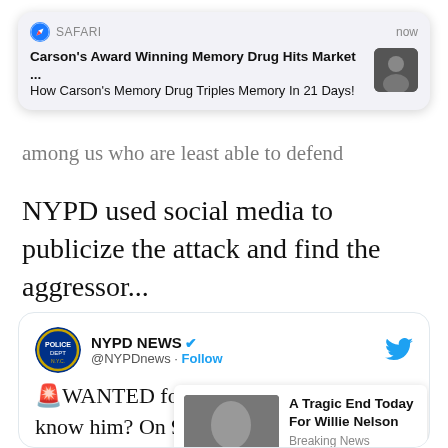[Figure (screenshot): Safari browser push notification showing: 'Carson's Award Winning Memory Drug Hits Market ...' / 'How Carson's Memory Drug Triples Memory In 21 Days!' with a thumbnail image, labeled SAFARI and 'now']
among us who are least able to defend themselves.
NYPD used social media to publicize the attack and find the aggressor...
[Figure (screenshot): Embedded tweet from NYPD NEWS @NYPDnews with text starting '🚨WANTED for ASSAULT: Do you know him? On 9/12 at 2:00 PM near 3rd Ave...' partially covered by an ad overlay showing Willie Nelson image and 'A Tragic End Today For Willie Nelson / Breaking News']